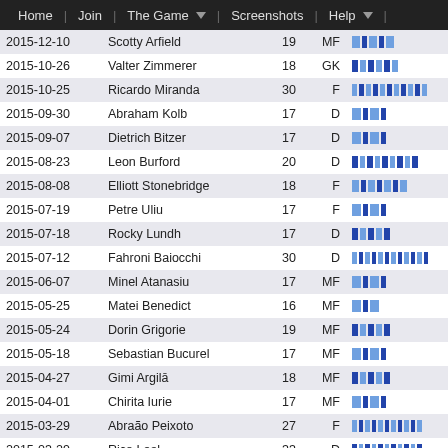Home | Join | The Game ▼ | Screenshots | Help ▼ |
| Date | Name | Age | Pos | Bar |
| --- | --- | --- | --- | --- |
| 2015-12-10 | Scotty Arfield | 19 | MF | ▐▐▐▐▐ |
| 2015-10-26 | Valter Zimmerer | 18 | GK | ▐▐▐▐▐▐ |
| 2015-10-25 | Ricardo Miranda | 30 | F | ▐▐▐▐▐▐▐▐▐▐▐▐▐▐▐ |
| 2015-09-30 | Abraham Kolb | 17 | D | ▐▐▐▐ |
| 2015-09-07 | Dietrich Bitzer | 17 | D | ▐▐▐▐ |
| 2015-08-23 | Leon Burford | 20 | D | ▐▐▐▐▐▐▐▐▐ |
| 2015-08-08 | Elliott Stonebridge | 18 | F | ▐▐▐▐▐▐▐ |
| 2015-07-19 | Petre Uliu | 17 | F | ▐▐▐▐ |
| 2015-07-18 | Rocky Lundh | 17 | D | ▐▐▐▐▐ |
| 2015-07-12 | Fahroni Baiocchi | 30 | D | ▐▐▐▐▐▐▐▐▐▐▐▐▐▐▐ |
| 2015-06-07 | Minel Atanasiu | 17 | MF | ▐▐▐▐ |
| 2015-05-25 | Matei Benedict | 16 | MF | ▐▐▐ |
| 2015-05-24 | Dorin Grigorie | 19 | MF | ▐▐▐▐▐ |
| 2015-05-18 | Sebastian Bucurel | 17 | MF | ▐▐▐▐ |
| 2015-04-27 | Gimi Argilā | 18 | MF | ▐▐▐▐▐ |
| 2015-04-01 | Chirita Iurie | 17 | MF | ▐▐▐▐ |
| 2015-03-29 | Abraão Peixoto | 27 | F | ▐▐▐▐▐▐▐▐▐▐▐▐▐▐▐ |
| 2015-03-29 | Rico Leal | 33 | D | ▐▐▐▐▐▐▐▐▐▐▐▐▐▐▐ |
| 2015-03-29 | Sigurgeir Sigurdson | 19 | GK | ▐▐▐▐▐▐▐▐▐▐ |
| 2015-03-29 | Alexander Floyd | 31 | MF | ▐▐▐▐▐▐▐▐▐▐▐▐ |